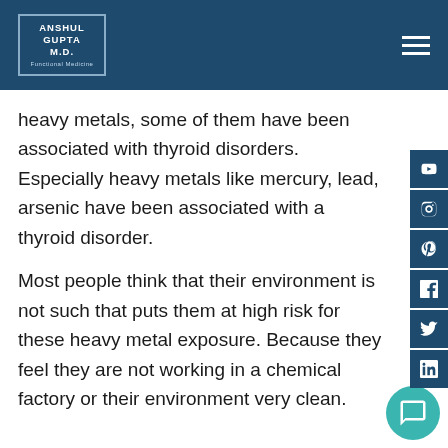ANSHUL GUPTA M.D. Functional Medicine
heavy metals, some of them have been associated with thyroid disorders. Especially heavy metals like mercury, lead, arsenic have been associated with a thyroid disorder.
Most people think that their environment is not such that puts them at high risk for these heavy metal exposure. Because they feel they are not working in a chemical factory or their environment very clean.